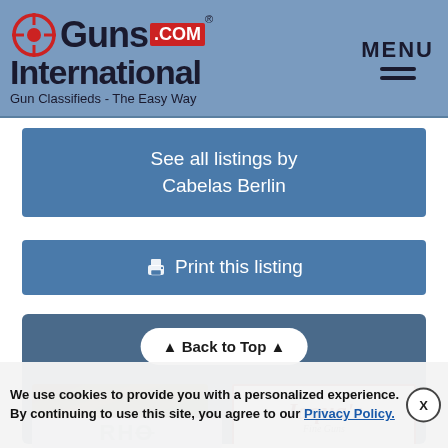[Figure (logo): GunsInternational.com logo with crosshair icon, red .COM box, tagline 'Gun Classifieds - The Easy Way' and MENU hamburger icon]
See all listings by
Cabelas Berlin
🖨 Print this listing
▲ Back to Top ▲
[Figure (illustration): Cabela's store interior with green display counters and 'Legendary Selection of Firearms' text]
[Figure (logo): Jaqua's Fine Guns logo with red border]
[Figure (logo): RHO logo partial]
We use cookies to provide you with a personalized experience. By continuing to use this site, you agree to our Privacy Policy.